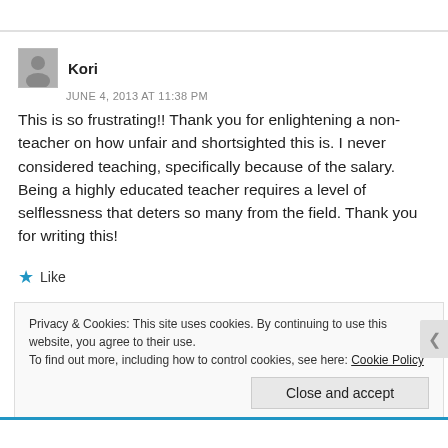Kori
JUNE 4, 2013 AT 11:38 PM
This is so frustrating!! Thank you for enlightening a non-teacher on how unfair and shortsighted this is. I never considered teaching, specifically because of the salary. Being a highly educated teacher requires a level of selflessness that deters so many from the field. Thank you for writing this!
Like
Privacy & Cookies: This site uses cookies. By continuing to use this website, you agree to their use.
To find out more, including how to control cookies, see here: Cookie Policy
Close and accept